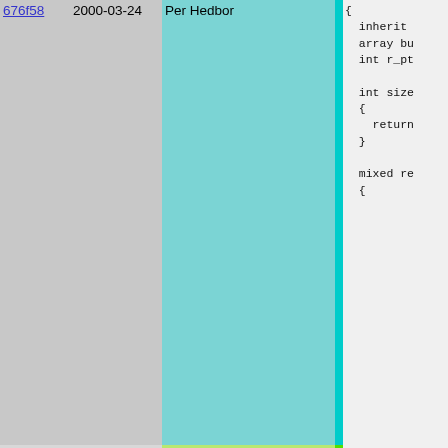| hash | date | author | bar | code |
| --- | --- | --- | --- | --- |
| 676f58 | 2000-03-24 | Per Hedbor |  | {
  inherit
  array bu
  int r_pt

  int size
  {
    return
  }

  mixed re
  {
 |
| 8140af | 2002-10-27 | Martin Stjernholm |  | while( |
| 291cf0 | 2002-10-23 | Martin Stjernholm |  | // M
// n |
| 8140af | 2002-10-27 | Martin Stjernholm |  | // a
// M
Thre
r_co
} |
| 676f58 | 2000-03-24 | Per Hedbor |  | mixed
buffer
return
} |
| 9567c1 | 2001-02-23 | Martin Stjernholm |  | mixed tr
{ |